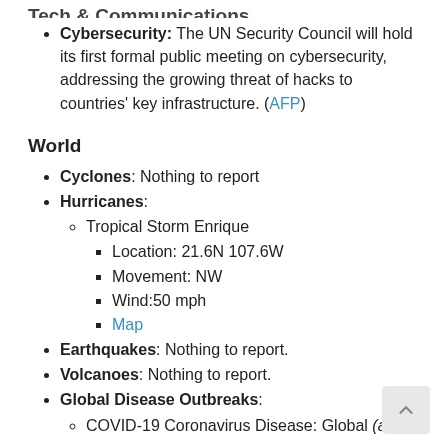Tech & Communications
Cybersecurity: The UN Security Council will hold its first formal public meeting on cybersecurity, addressing the growing threat of hacks to countries' key infrastructure. (AFP)
World
Cyclones: Nothing to report
Hurricanes:
Tropical Storm Enrique
Location: 21.6N 107.6W
Movement: NW
Wind:50 mph
Map
Earthquakes: Nothing to report.
Volcanoes: Nothing to report.
Global Disease Outbreaks:
COVID-19 Coronavirus Disease: Global (as